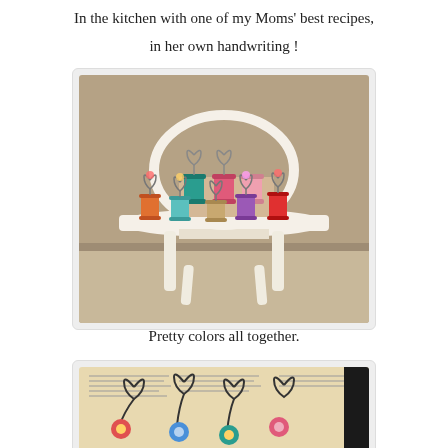In the kitchen with one of my Moms' best recipes,
in her own handwriting !
[Figure (photo): Colorful thread spool figurines with wire heart decorations displayed on a small white wooden table/chair against a beige wall background.]
Pretty colors all together.
[Figure (photo): Wire heart-shaped figurines with colorful flowers/decorations displayed on aged newspaper/book pages background.]